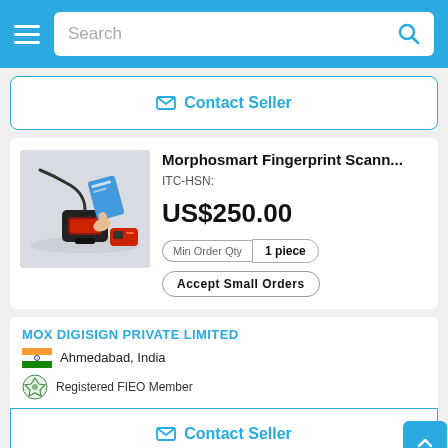Search
Contact Seller
[Figure (photo): Morphosmart fingerprint scanner device with USB cable, red accessory device, and hand placing finger on scanner]
Morphosmart Fingerprint Scann...
ITC-HSN:
US$250.00
Min Order Qty  1 piece
Accept Small Orders
MOX DIGISIGN PRIVATE LIMITED
Ahmedabad, India
Registered FIEO Member
Contact Seller